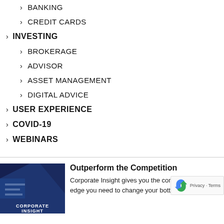> BANKING
> CREDIT CARDS
> INVESTING
> BROKERAGE
> ADVISOR
> ASSET MANAGEMENT
> DIGITAL ADVICE
> USER EXPERIENCE
> COVID-19
> WEBINARS
[Figure (illustration): Corporate Insight book cover with dark blue diagonal graphic design]
Outperform the Competition
Corporate Insight gives you the comp edge you need to change your bottom